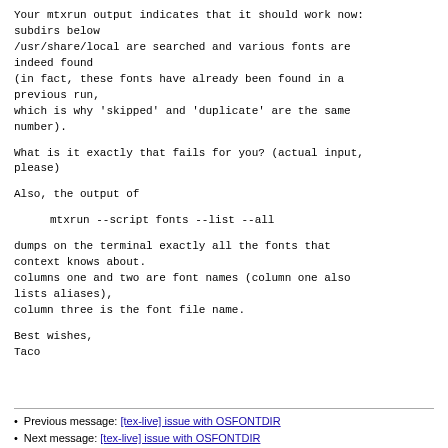Your mtxrun output indicates that it should work now:
subdirs below
/usr/share/local are searched and various fonts are
indeed found
(in fact, these fonts have already been found in a
previous run,
which is why 'skipped' and 'duplicate' are the same
number).
What is it exactly that fails for you? (actual input,
please)
Also, the output of
mtxrun --script fonts --list --all
dumps on the terminal exactly all the fonts that
context knows about.
columns one and two are font names (column one also
lists aliases),
column three is the font file name.
Best wishes,
Taco
Previous message: [tex-live] issue with OSFONTDIR
Next message: [tex-live] issue with OSFONTDIR